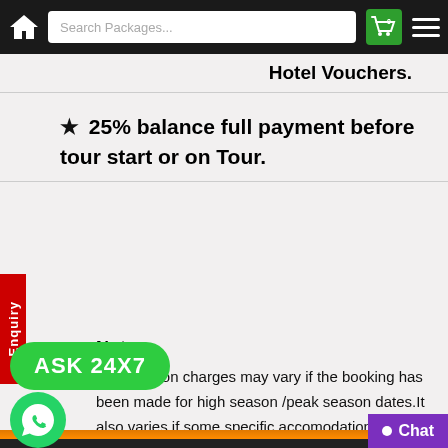Search Packages...
Hotel Vouchers.
★ 25% balance full payment before tour start or on Tour.
Note:-
Cancellation charges may vary if the booking has been made for high season /peak season dates.It also varies if some specific accomodation and transportation arrangement have been made as per the choice/suggestions of travellers. For discuss with your tour advisor at the time of package confirmation